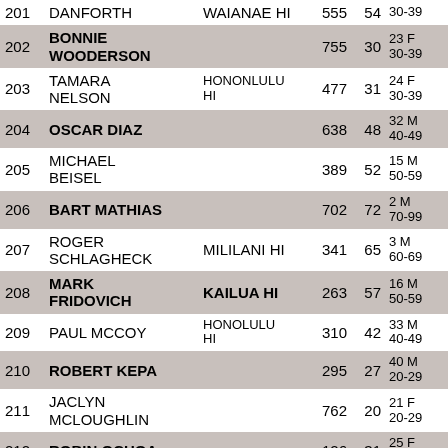| # | Name | City | Bib | Age | Rank/AG | Time |
| --- | --- | --- | --- | --- | --- | --- |
| 201 | DANFORTH | WAIANAE HI | 555 | 54 | 30-39 | 1:01:04. |
| 202 | BONNIE WOODERSON |  | 755 | 30 | 23 F 30-39 | 1:01:05. |
| 203 | TAMARA NELSON | HONONLULU HI | 477 | 31 | 24 F 30-39 | 1:01:06. |
| 204 | OSCAR DIAZ |  | 638 | 48 | 32 M 40-49 | 1:01:10. |
| 205 | MICHAEL BEISEL |  | 389 | 52 | 15 M 50-59 | 1:01:24. |
| 206 | BART MATHIAS |  | 702 | 72 | 2 M 70-99 | 1:01:25. |
| 207 | ROGER SCHLAGHECK | MILILANI HI | 341 | 65 | 3 M 60-69 | 1:01:30. |
| 208 | MARK FRIDOVICH | KAILUA HI | 263 | 57 | 16 M 50-59 | 1:01:32. |
| 209 | PAUL MCCOY | HONOLULU HI | 310 | 42 | 33 M 40-49 | 1:01:35. |
| 210 | ROBERT KEPA |  | 295 | 27 | 40 M 20-29 | 1:01:37. |
| 211 | JACLYN MCLOUGHLIN |  | 762 | 20 | 21 F 20-29 | 1:01:38. |
| 212 | ROBIN OCHOA |  | 126 | 31 | 25 F 30-39 | 1:01:53. |
| 213 |  |  |  |  | 7 F |  |